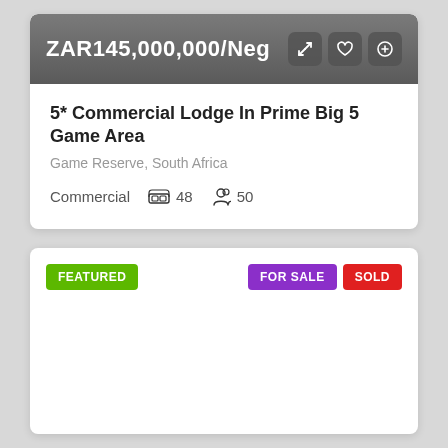ZAR145,000,000/Neg
5* Commercial Lodge In Prime Big 5 Game Area
Game Reserve, South Africa
Commercial  48  50
FEATURED
FOR SALE
SOLD